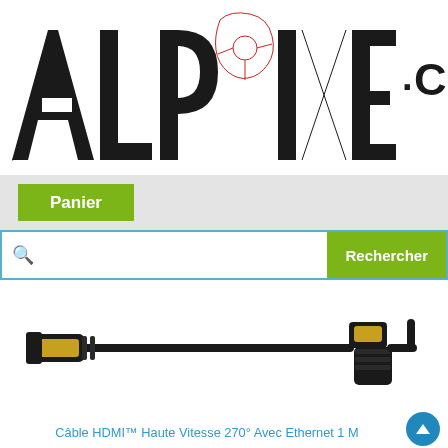[Figure (logo): ALPIXE.COM logo in large stylized black letters with a red circuit/chip design element integrated into the letters]
Panier
[Figure (screenshot): Search bar with magnifying glass icon on the left and a green 'Rechercher' button on the right, bordered in teal/cyan]
[Figure (photo): Black HDMI cable with gold-plated connectors — one straight connector on the left and one 270-degree angled connector on the right]
Câble HDMI™ Haute Vitesse 270° Avec Ethernet 1 M